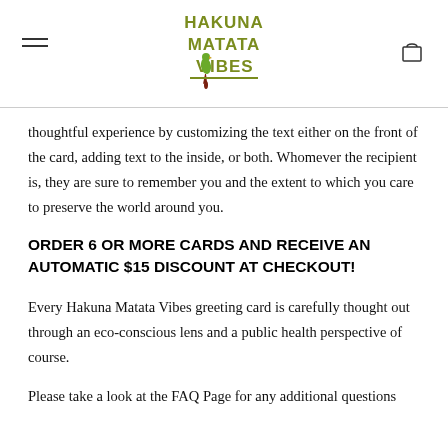[Figure (logo): Hakuna Matata Vibes logo with green stylized text and a parrot icon in the center]
thoughtful experience by customizing the text either on the front of the card, adding text to the inside, or both. Whomever the recipient is, they are sure to remember you and the extent to which you care to preserve the world around you.
ORDER 6 OR MORE CARDS AND RECEIVE AN AUTOMATIC $15 DISCOUNT AT CHECKOUT!
Every Hakuna Matata Vibes greeting card is carefully thought out through an eco-conscious lens and a public health perspective of course.
Please take a look at the FAQ Page for any additional questions